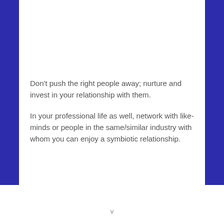Don't push the right people away; nurture and invest in your relationship with them.

In your professional life as well, network with like-minds or people in the same/similar industry with whom you can enjoy a symbiotic relationship.
v